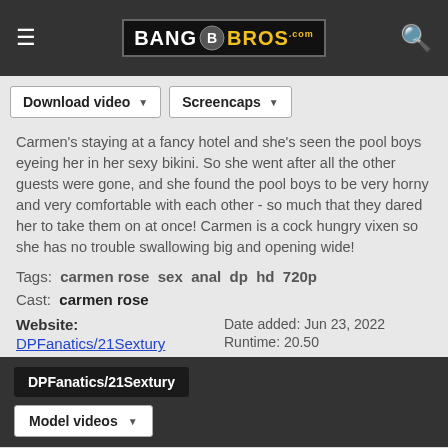BANGBROS
Download video   Screencaps
Carmen's staying at a fancy hotel and she's seen the pool boys eyeing her in her sexy bikini. So she went after all the other guests were gone, and she found the pool boys to be very horny and very comfortable with each other - so much that they dared her to take them on at once! Carmen is a cock hungry vixen so she has no trouble swallowing big and opening wide!
Tags:  carmen rose  sex  anal  dp  hd  720p
Cast:  carmen rose
Website:
DPFanatics/21Sextury
Date added: Jun 23, 2022
Runtime: 20.50
DPFanatics/21Sextury
Model videos
4K   4K